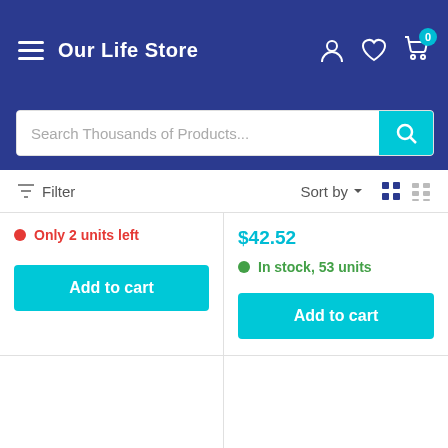Our Life Store
Search Thousands of Products...
Filter  Sort by
Only 2 units left
$42.52
In stock, 53 units
Add to cart
Add to cart